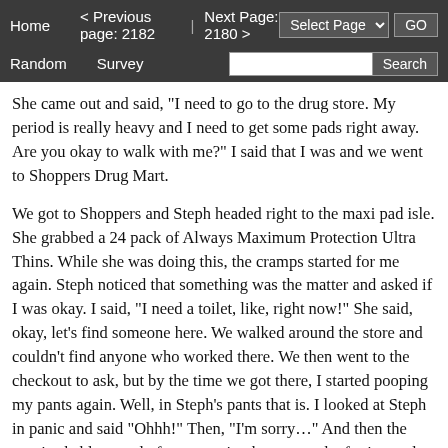Home   < Previous page: 2182  |  Next Page: 2180 >   Random   Survey   Select Page   GO   Search
She came out and said, "I need to go to the drug store. My period is really heavy and I need to get some pads right away. Are you okay to walk with me?" I said that I was and we went to Shoppers Drug Mart.
We got to Shoppers and Steph headed right to the maxi pad isle. She grabbed a 24 pack of Always Maximum Protection Ultra Thins. While she was doing this, the cramps started for me again. Steph noticed that something was the matter and asked if I was okay. I said, "I need a toilet, like, right now!" She said, okay, let's find someone here. We walked around the store and couldn't find anyone who worked there. We then went to the checkout to ask, but by the time we got there, I started pooping my pants again. Well, in Steph's pants that is. I looked at Steph in panic and said "Ohhh!" Then, "I'm sorry…" And then the unmistakable sound of one pooping her pants, the farting and squelching, happened and I filled the underwear that Steph let me borrow. I wasn't wearing a pad either as I had given it to Steph.